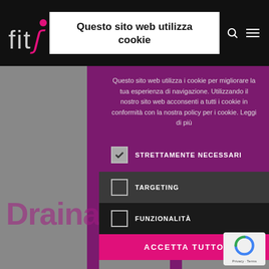[Figure (screenshot): FitS website navigation bar with logo on black background, showing X close button and hamburger menu icon]
Questo sito web utilizza cookie
Questo sito web utilizza i cookie per migliorare la tua esperienza di navigazione. Utilizzando il nostro sito web acconsenti a tutti i cookie in conformità con la nostra policy per i cookie. Leggi di più
STRETTAMENTE NECESSARI
TARGETING
FUNZIONALITÀ
Drainage
ACCETTA TUTTO